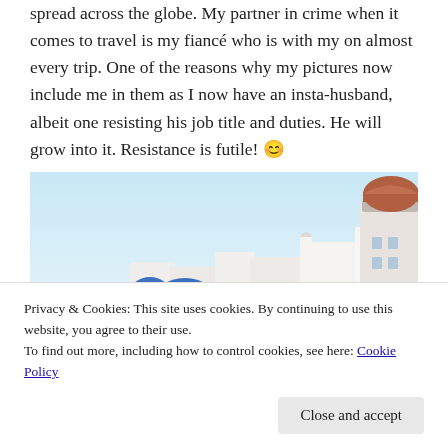spread across the globe. My partner in crime when it comes to travel is my fiancé who is with my on almost every trip. One of the reasons why my pictures now include me in them as I now have an insta-husband, albeit one resisting his job title and duties. He will grow into it. Resistance is futile! 😊
[Figure (photo): Photograph of Santorini, Greece showing iconic white-washed buildings with blue domed churches on a cliffside overlooking the sea, with clear blue sky.]
Privacy & Cookies: This site uses cookies. By continuing to use this website, you agree to their use.
To find out more, including how to control cookies, see here: Cookie Policy